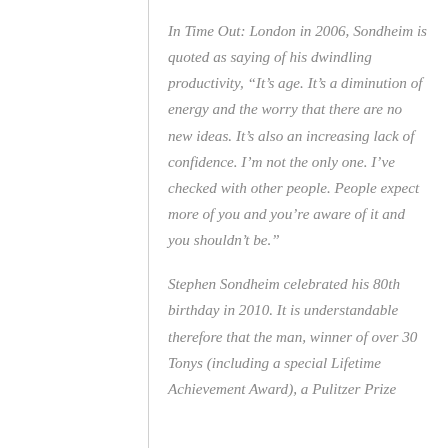In Time Out: London in 2006, Sondheim is quoted as saying of his dwindling productivity, “It’s age. It’s a diminution of energy and the worry that there are no new ideas. It’s also an increasing lack of confidence. I’m not the only one. I’ve checked with other people. People expect more of you and you’re aware of it and you shouldn’t be.”
Stephen Sondheim celebrated his 80th birthday in 2010. It is understandable therefore that the man, winner of over 30 Tonys (including a special Lifetime Achievement Award), a Pulitzer Prize